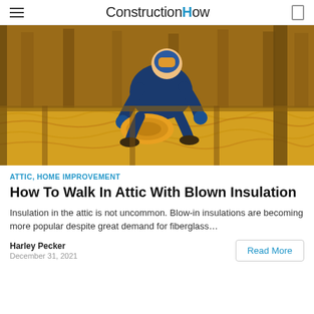ConstructionHow
[Figure (photo): A worker in blue coveralls and gloves rolling out yellow fiberglass insulation batts in an attic with wooden beams and studs visible.]
ATTIC, HOME IMPROVEMENT
How To Walk In Attic With Blown Insulation
Insulation in the attic is not uncommon. Blow-in insulations are becoming more popular despite great demand for fiberglass…
Harley Pecker
December 31, 2021
Read More